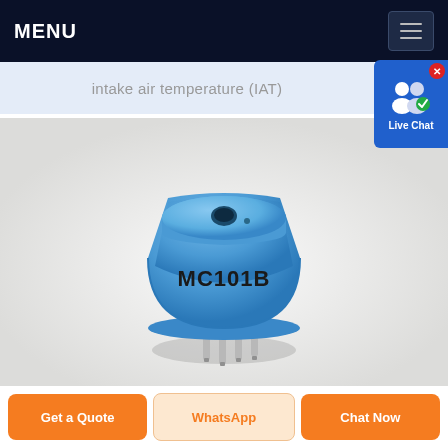MENU
intake air temperature (IAT)
[Figure (photo): Blue cylindrical sensor labeled MC101B with metal pins on bottom, on a light gray background]
Get a Quote | WhatsApp | Chat Now